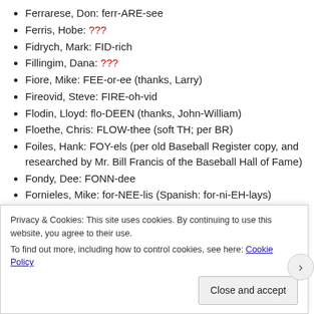Ferrarese, Don: ferr-ARE-see
Ferris, Hobe: ???
Fidrych, Mark: FID-rich
Fillingim, Dana: ???
Fiore, Mike: FEE-or-ee (thanks, Larry)
Fireovid, Steve: FIRE-oh-vid
Flodin, Lloyd: flo-DEEN (thanks, John-William)
Floethe, Chris: FLOW-thee (soft TH; per BR)
Foiles, Hank: FOY-els (per old Baseball Register copy, and researched by Mr. Bill Francis of the Baseball Hall of Fame)
Fondy, Dee: FONN-dee
Fornieles, Mike: for-NEE-lis (Spanish: for-ni-EH-lays)
Forsythe, Logan: sounds like 'foresight' with soft 'th' as last consonant, thus like 'for scythe' (thanks, MJX)
Privacy & Cookies: This site uses cookies. By continuing to use this website, you agree to their use. To find out more, including how to control cookies, see here: Cookie Policy
Close and accept